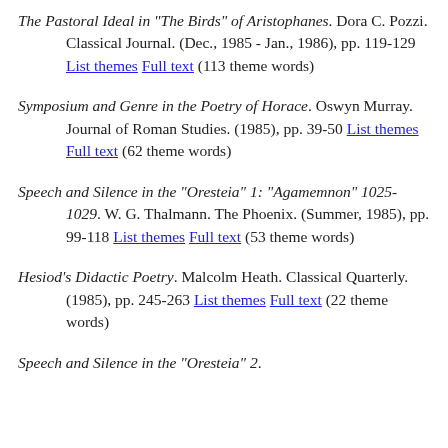The Pastoral Ideal in "The Birds" of Aristophanes. Dora C. Pozzi. Classical Journal. (Dec., 1985 - Jan., 1986), pp. 119-129 List themes Full text (113 theme words)
Symposium and Genre in the Poetry of Horace. Oswyn Murray. Journal of Roman Studies. (1985), pp. 39-50 List themes Full text (62 theme words)
Speech and Silence in the "Oresteia" 1: "Agamemnon" 1025-1029. W. G. Thalmann. The Phoenix. (Summer, 1985), pp. 99-118 List themes Full text (53 theme words)
Hesiod's Didactic Poetry. Malcolm Heath. Classical Quarterly. (1985), pp. 245-263 List themes Full text (22 theme words)
Speech and Silence in the "Oresteia" 2.